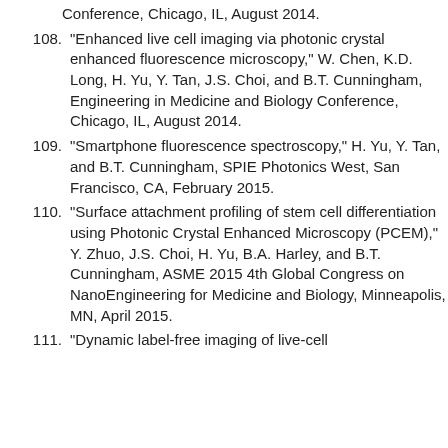Conference, Chicago, IL, August 2014.
108. “Enhanced live cell imaging via photonic crystal enhanced fluorescence microscopy,” W. Chen, K.D. Long, H. Yu, Y. Tan, J.S. Choi, and B.T. Cunningham, Engineering in Medicine and Biology Conference, Chicago, IL, August 2014.
109. “Smartphone fluorescence spectroscopy,” H. Yu, Y. Tan, and B.T. Cunningham, SPIE Photonics West, San Francisco, CA, February 2015.
110. “Surface attachment profiling of stem cell differentiation using Photonic Crystal Enhanced Microscopy (PCEM),” Y. Zhuo, J.S. Choi, H. Yu, B.A. Harley, and B.T. Cunningham, ASME 2015 4th Global Congress on NanoEngineering for Medicine and Biology, Minneapolis, MN, April 2015.
111. “Dynamic label-free imaging of live-cell